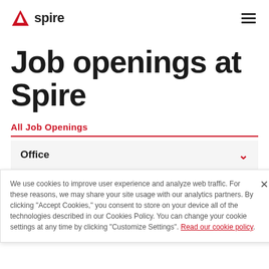Aspire
Job openings at Spire
All Job Openings
Office
We use cookies to improve user experience and analyze web traffic. For these reasons, we may share your site usage with our analytics partners. By clicking "Accept Cookies," you consent to store on your device all of the technologies described in our Cookies Policy. You can change your cookie settings at any time by clicking "Customize Settings". Read our cookie policy.